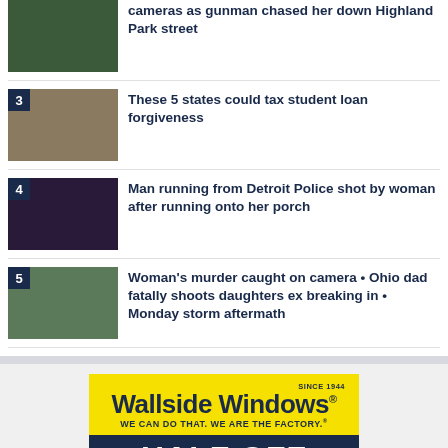cameras as gunman chased her down Highland Park street
[Figure (photo): News thumbnail item 2 - partial view at top]
3 - These 5 states could tax student loan forgiveness
[Figure (photo): Money/dollar bills thumbnail for item 3]
4 - Man running from Detroit Police shot by woman after running onto her porch
[Figure (photo): Dark car/police scene thumbnail for item 4]
5 - Woman's murder caught on camera • Ohio dad fatally shoots daughters ex breaking in • Monday storm aftermath
[Figure (photo): Collage thumbnail for item 5]
[Figure (infographic): Wallside Windows advertisement - Since 1944 - WE CAN DO THAT. WE ARE THE FACTORY. - HALF OFF]